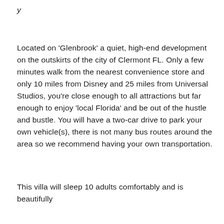y
Located on 'Glenbrook' a quiet, high-end development on the outskirts of the city of Clermont FL. Only a few minutes walk from the nearest convenience store and only 10 miles from Disney and 25 miles from Universal Studios, you're close enough to all attractions but far enough to enjoy 'local Florida' and be out of the hustle and bustle. You will have a two-car drive to park your own vehicle(s), there is not many bus routes around the area so we recommend having your own transportation.
This villa will sleep 10 adults comfortably and is beautifully